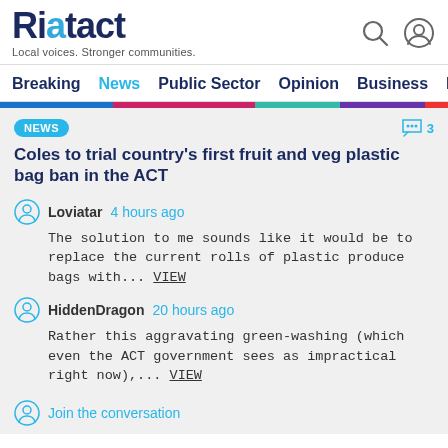Riotact — Local voices. Stronger communities.
Breaking  News  Public Sector  Opinion  Business  R
Coles to trial country's first fruit and veg plastic bag ban in the ACT
Loviatar  4 hours ago
The solution to me sounds like it would be to replace the current rolls of plastic produce bags with... VIEW
HiddenDragon  20 hours ago
Rather this aggravating green-washing (which even the ACT government sees as impractical right now),... VIEW
Join the conversation